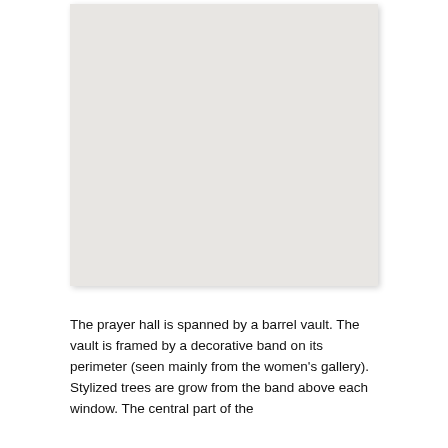[Figure (photo): A large rectangular image area with a light gray/off-white background, bordered by a thin shadow or border, occupying the upper two-thirds of the page. The image content is not visible — it appears as a blank or washed-out placeholder.]
The prayer hall is spanned by a barrel vault. The vault is framed by a decorative band on its perimeter (seen mainly from the women's gallery). Stylized trees are grow from the band above each window. The central part of the